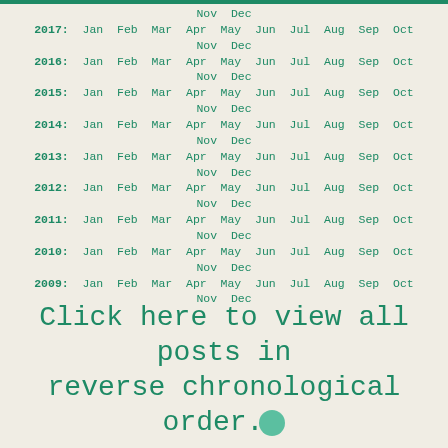Nov Dec
2017: Jan Feb Mar Apr May Jun Jul Aug Sep Oct Nov Dec
2016: Jan Feb Mar Apr May Jun Jul Aug Sep Oct Nov Dec
2015: Jan Feb Mar Apr May Jun Jul Aug Sep Oct Nov Dec
2014: Jan Feb Mar Apr May Jun Jul Aug Sep Oct Nov Dec
2013: Jan Feb Mar Apr May Jun Jul Aug Sep Oct Nov Dec
2012: Jan Feb Mar Apr May Jun Jul Aug Sep Oct Nov Dec
2011: Jan Feb Mar Apr May Jun Jul Aug Sep Oct Nov Dec
2010: Jan Feb Mar Apr May Jun Jul Aug Sep Oct Nov Dec
2009: Jan Feb Mar Apr May Jun Jul Aug Sep Oct Nov Dec
Click here to view all posts in reverse chronological order.